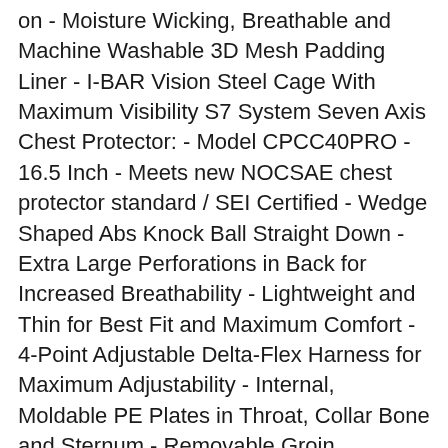on - Moisture Wicking, Breathable and Machine Washable 3D Mesh Padding Liner - I-BAR Vision Steel Cage With Maximum Visibility S7 System Seven Axis Chest Protector: - Model CPCC40PRO - 16.5 Inch - Meets new NOCSAE chest protector standard / SEI Certified - Wedge Shaped Abs Knock Ball Straight Down - Extra Large Perforations in Back for Increased Breathability - Lightweight and Thin for Best Fit and Maximum Comfort - 4-Point Adjustable Delta-Flex Harness for Maximum Adjustability - Internal, Moldable PE Plates in Throat, Collar Bone and Sternum - Removable Groin Protector - Machine Washable System Seven Axis Leg Guards: - Model LG40WPRO - 16.5 Inch - Super Lightweight and Durable - Adjustable D30 Knee Pad and Ergonomic Shin Pads - Triple Knee Protection - Extra Thick Plastic to Prevent Cracking -